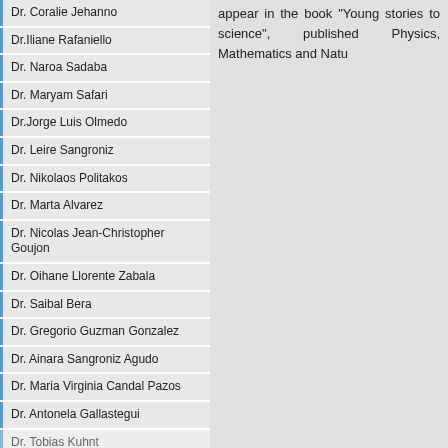Dr. Coralie Jehanno
Dr.Iliane Rafaniello
Dr. Naroa Sadaba
Dr. Maryam Safari
Dr.Jorge Luis Olmedo
Dr. Leire Sangroniz
Dr. Nikolaos Politakos
Dr. Marta Alvarez
Dr. Nicolas Jean-Christopher Goujon
Dr. Oihane Llorente Zabala
Dr. Saibal Bera
Dr. Gregorio Guzman Gonzalez
Dr. Ainara Sangroniz Agudo
Dr. Maria Virginia Candal Pazos
Dr. Antonela Gallastegui
Dr. Tobias Kuhnt
appear in the book "Young stories to science", published Physics, Mathematics and Natu